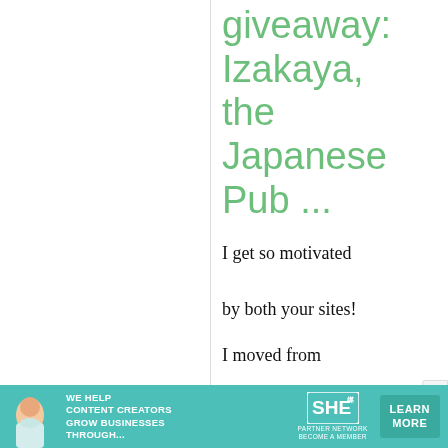giveaway: Izakaya, the Japanese Pub ...
I get so motivated by both your sites!
I moved from Portland, Oregon to Miami, Florida a few years ago
[Figure (infographic): Advertisement banner for SHE Media Partner Network: 'We Help Content Creators Grow Businesses Through...' with LEARN MORE button]